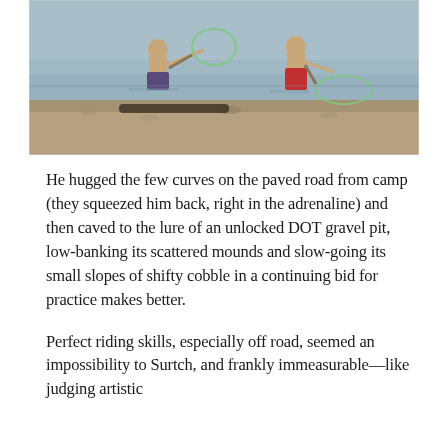[Figure (photo): Two boys wading in shallow water near a rocky shore, each holding a net (possibly fishing or catching creatures). The water reflects the scene and the background shows a calm lake or river.]
He hugged the few curves on the paved road from camp (they squeezed him back, right in the adrenaline) and then caved to the lure of an unlocked DOT gravel pit, low-banking its scattered mounds and slow-going its small slopes of shifty cobble in a continuing bid for practice makes better.
Perfect riding skills, especially off road, seemed an impossibility to Surtch, and frankly immeasurable—like judging artistic